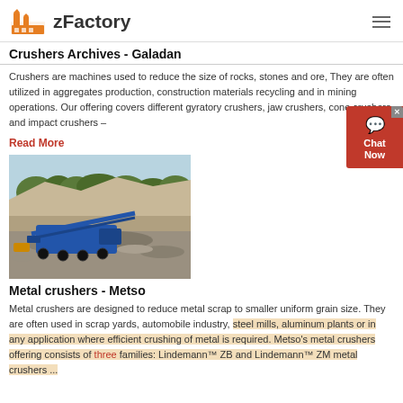zFactory
Crushers Archives - Galadan
Crushers are machines used to reduce the size of rocks, stones and ore, They are often utilized in aggregates production, construction materials recycling and in mining operations. Our offering covers different gyratory crushers, jaw crushers, cone crushers and impact crushers –
Read More
[Figure (photo): Aerial view of a quarry with blue mobile crushing equipment in the foreground and rocky terrain and trees in the background]
Metal crushers - Metso
Metal crushers are designed to reduce metal scrap to smaller uniform grain size. They are often used in scrap yards, automobile industry, steel mills, aluminum plants or in any application where efficient crushing of metal is required. Metso's metal crushers offering consists of three families: Lindemann™ ZB and Lindemann™ ZM metal crushers ...